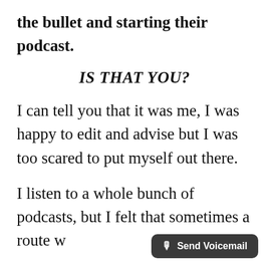the bullet and starting their podcast.
IS THAT YOU?
I can tell you that it was me, I was happy to edit and advise but I was too scared to put myself out there.
I listen to a whole bunch of podcasts, but I felt that sometimes a route w
[Figure (other): Send Voicemail button overlay with microphone icon]